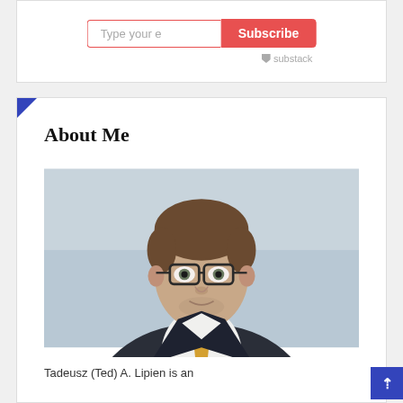[Figure (screenshot): Subscribe widget with email input field showing 'Type your e' placeholder and a red Subscribe button, with Substack logo below]
About Me
[Figure (photo): Professional headshot of Tadeusz (Ted) A. Lipien, a middle-aged man wearing glasses, a dark suit jacket, white shirt, and gold/yellow tie, against a light blue-gray background]
Tadeusz (Ted) A. Lipien is an